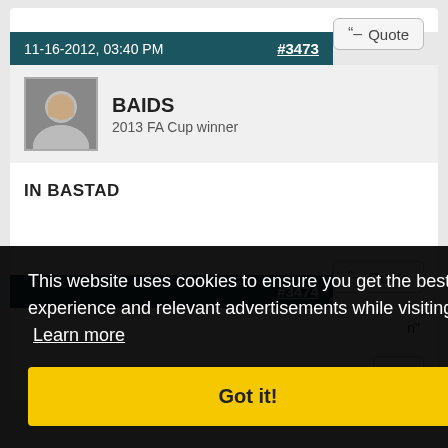Quote (top post button)
11-16-2012, 03:40 PM  #3473
BAIDS
2013 FA Cup winner
IN BASTAD
Quote
#3474
n"
ote
This website uses cookies to ensure you get the best experience and relevant advertisements while visiting. Learn more
Got it!